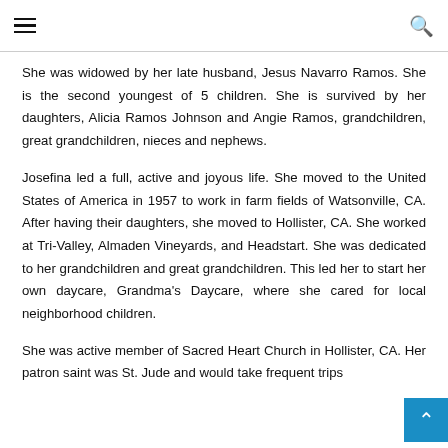≡ [hamburger menu] [search icon]
She was widowed by her late husband, Jesus Navarro Ramos. She is the second youngest of 5 children. She is survived by her daughters, Alicia Ramos Johnson and Angie Ramos, grandchildren, great grandchildren, nieces and nephews.
Josefina led a full, active and joyous life. She moved to the United States of America in 1957 to work in farm fields of Watsonville, CA. After having their daughters, she moved to Hollister, CA. She worked at Tri-Valley, Almaden Vineyards, and Headstart. She was dedicated to her grandchildren and great grandchildren. This led her to start her own daycare, Grandma's Daycare, where she cared for local neighborhood children.
She was active member of Sacred Heart Church in Hollister, CA. Her patron saint was St. Jude and would take frequent trips...